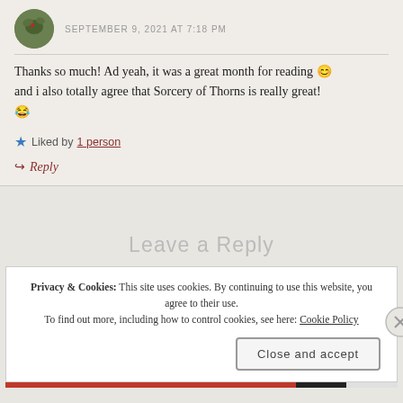SEPTEMBER 9, 2021 AT 7:18 PM
Thanks so much! Ad yeah, it was a great month for reading 😊 and i also totally agree that Sorcery of Thorns is really great! 😂
★ Liked by 1 person
↪ Reply
Leave a Reply
Privacy & Cookies: This site uses cookies. By continuing to use this website, you agree to their use. To find out more, including how to control cookies, see here: Cookie Policy
Close and accept